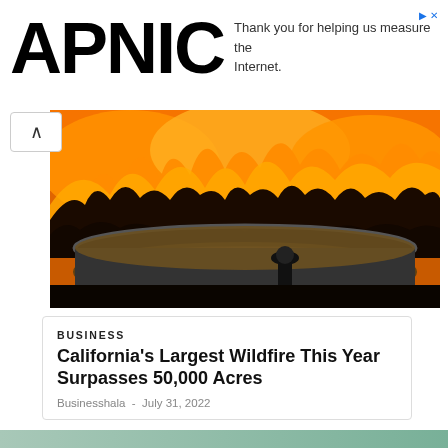APNIC
Thank you for helping us measure the Internet.
[Figure (photo): Wildfire burning through a forest hillside at night with orange flames, with a person crouching near a large circular water tank in the foreground]
BUSINESS
California's Largest Wildfire This Year Surpasses 50,000 Acres
Businesshala - July 31, 2022